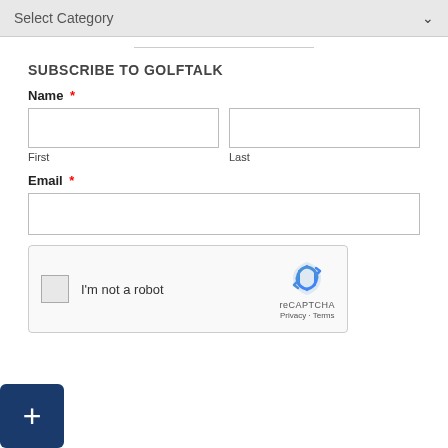Select Category
SUBSCRIBE TO GOLFTALK
Name *
First
Last
Email *
[Figure (other): reCAPTCHA widget with checkbox labeled 'I'm not a robot', reCAPTCHA logo, Privacy and Terms links]
[Figure (other): Dark blue plus button in bottom-left corner]